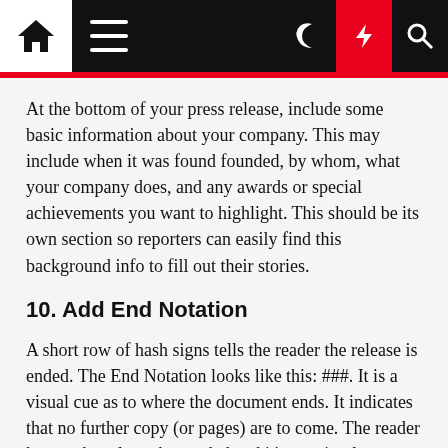[Navigation bar with home, menu, dark mode, lightning, and search icons]
At the bottom of your press release, include some basic information about your company. This may include when it was found founded, by whom, what your company does, and any awards or special achievements you want to highlight. This should be its own section so reporters can easily find this background info to fill out their stories.
10. Add End Notation
A short row of hash signs tells the reader the release is ended. The End Notation looks like this: ###. It is a visual cue as to where the document ends. It indicates that no further copy (or pages) are to come. The reader knows the release has ended and it's not simply a case of the last page being missing.